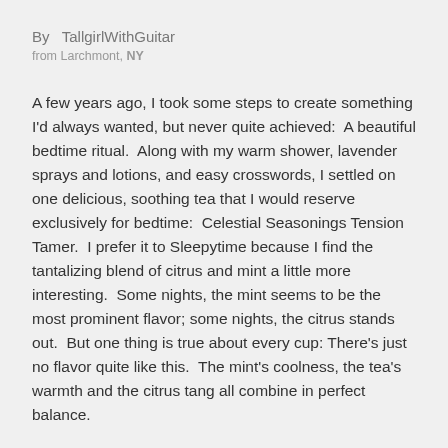By  TallgirlWithGuitar
from Larchmont, NY
A few years ago, I took some steps to create something I'd always wanted, but never quite achieved:  A beautiful bedtime ritual.  Along with my warm shower, lavender sprays and lotions, and easy crosswords, I settled on one delicious, soothing tea that I would reserve exclusively for bedtime:  Celestial Seasonings Tension Tamer.  I prefer it to Sleepytime because I find the tantalizing blend of citrus and mint a little more interesting.  Some nights, the mint seems to be the most prominent flavor; some nights, the citrus stands out.  But one thing is true about every cup: There's just no flavor quite like this.  The mint's coolness, the tea's warmth and the citrus tang all combine in perfect balance.
One of the simple pleasures of my life now is removing the cellophane from a new box and taking a deep breath.  When this stuff is fresh, it's intoxicating--but in a healthy way, of course.